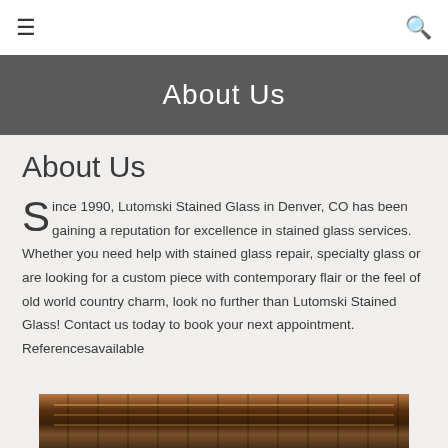≡  🔍
About Us
About Us
Since 1990, Lutomski Stained Glass in Denver, CO has been gaining a reputation for excellence in stained glass services. Whether you need help with stained glass repair, specialty glass or are looking for a custom piece with contemporary flair or the feel of old world country charm, look no further than Lutomski Stained Glass! Contact us today to book your next appointment. Referencesavailable
[Figure (photo): Photo of stained glass workshop showing glass panels and lead came work in progress]